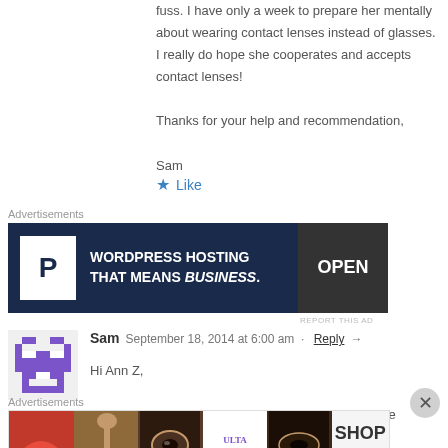fuss. I have only a week to prepare her mentally about wearing contact lenses instead of glasses. I really do hope she cooperates and accepts contact lenses! Thanks for your help and recommendation, Sam
Like
Advertisements
[Figure (screenshot): WordPress Hosting advertisement banner: dark blue background with large P logo, text 'WORDPRESS HOSTING THAT MEANS BUSINESS.' and an OPEN sign image on the right.]
REPORT THIS AD
Sam  September 18, 2014 at 6:00 am  ·  Reply →
Hi Ann Z,
Have you ever come across with similar cases where children suffe
Advertisements
[Figure (screenshot): ULTA beauty advertisement banner showing makeup photography with lips, brushes, eye makeup, ULTA logo, and SHOP NOW call to action.]